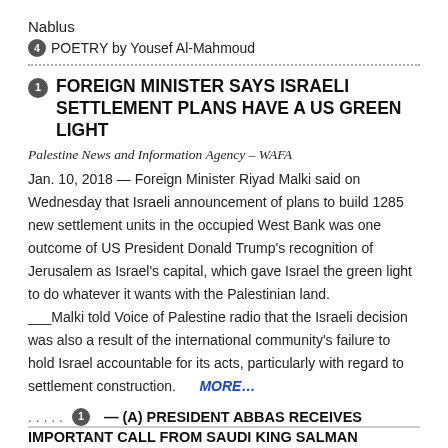Nablus
4 POETRY by Yousef Al-Mahmoud
FOREIGN MINISTER SAYS ISRAELI SETTLEMENT PLANS HAVE A US GREEN LIGHT
Palestine News and Information Agency – WAFA
Jan. 10, 2018 — Foreign Minister Riyad Malki said on Wednesday that Israeli announcement of plans to build 1285 new settlement units in the occupied West Bank was one outcome of US President Donald Trump's recognition of Jerusalem as Israel's capital, which gave Israel the green light to do whatever it wants with the Palestinian land. ___Malki told Voice of Palestine radio that the Israeli decision was also a result of the international community's failure to hold Israel accountable for its acts, particularly with regard to settlement construction. MORE…
. . . . . — (A) PRESIDENT ABBAS RECEIVES IMPORTANT CALL FROM SAUDI KING SALMAN